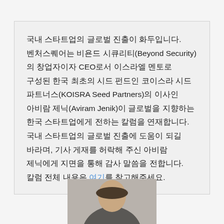국내 스타트업의 글로벌 진출이 화두입니다. 벤처스퀘어는 비욘드 시큐리티(Beyond Security)의 창업자이자 CEO로서 이스라엘 멘토로 구성된 한국 최초의 시드 펀드인 코이스라 시드 파트너스(KOISRA Seed Partners)의 이사인 아비람 제닉(Aviram Jenik)이 글로벌을 지향하는 한국 스타트업에게 전하는 칼럼을 연재합니다. 국내 스타트업의 글로벌 진출에 도움이 되길 바라며, 기사 게재를 허락해 주신 아비람 제닉에게 지면을 통해 감사 말씀을 전합니다. 칼럼 전체 내용은 여기를 참고해주세요.
[Figure (photo): Partial photo of a person's head/shoulders, cropped at bottom of page]